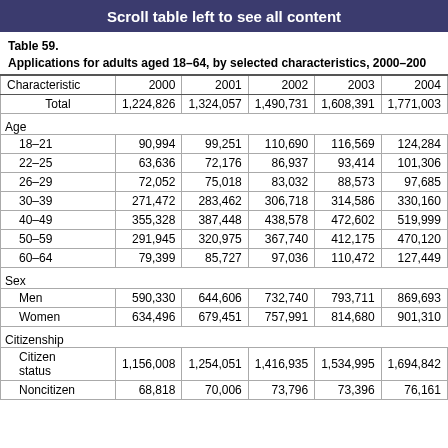Scroll table left to see all content
Table 59.
Applications for adults aged 18–64, by selected characteristics, 2000–200
| Characteristic | 2000 | 2001 | 2002 | 2003 | 2004 |  |
| --- | --- | --- | --- | --- | --- | --- |
| Total | 1,224,826 | 1,324,057 | 1,490,731 | 1,608,391 | 1,771,003 | 1,8… |
| Age |  |  |  |  |  |  |
| 18–21 | 90,994 | 99,251 | 110,690 | 116,569 | 124,284 | 1… |
| 22–25 | 63,636 | 72,176 | 86,937 | 93,414 | 101,306 | 10… |
| 26–29 | 72,052 | 75,018 | 83,032 | 88,573 | 97,685 | 10… |
| 30–39 | 271,472 | 283,462 | 306,718 | 314,586 | 330,160 | 3… |
| 40–49 | 355,328 | 387,448 | 438,578 | 472,602 | 519,999 | 5… |
| 50–59 | 291,945 | 320,975 | 367,740 | 412,175 | 470,120 | 5… |
| 60–64 | 79,399 | 85,727 | 97,036 | 110,472 | 127,449 | 1… |
| Sex |  |  |  |  |  |  |
| Men | 590,330 | 644,606 | 732,740 | 793,711 | 869,693 | 9… |
| Women | 634,496 | 679,451 | 757,991 | 814,680 | 901,310 | 9… |
| Citizenship |  |  |  |  |  |  |
| Citizen status | 1,156,008 | 1,254,051 | 1,416,935 | 1,534,995 | 1,694,842 | 1,7… |
| Noncitizen | 68,818 | 70,006 | 73,796 | 73,396 | 76,161 | … |